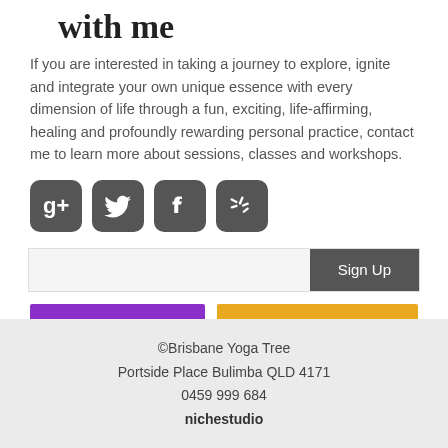with me
If you are interested in taking a journey to explore, ignite and integrate your own unique essence with every dimension of life through a fun, exciting, life-affirming, healing and profoundly rewarding personal practice, contact me to learn more about sessions, classes and workshops.
[Figure (illustration): Four social media icons: Google+, Twitter, Facebook, Yelp]
Sign Up
Call 0459 999 684
Contact Us
©Brisbane Yoga Tree
Portside Place Bulimba QLD 4171
0459 999 684
nichestudio